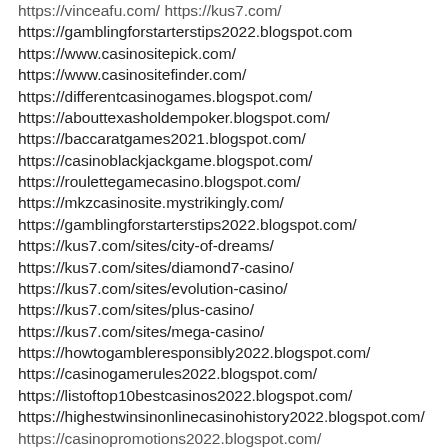https://vinceafu.com/ https://kus7.com/
https://gamblingforstarterstips2022.blogspot.com
https://www.casinositepick.com/
https://www.casinositefinder.com/
https://differentcasinogames.blogspot.com/
https://abouttexasholdempoker.blogspot.com/
https://baccaratgames2021.blogspot.com/
https://casinoblackjackgame.blogspot.com/
https://roulettegamecasino.blogspot.com/
https://mkzcasinosite.mystrikingly.com/
https://gamblingforstarterstips2022.blogspot.com/
https://kus7.com/sites/city-of-dreams/
https://kus7.com/sites/diamond7-casino/
https://kus7.com/sites/evolution-casino/
https://kus7.com/sites/plus-casino/
https://kus7.com/sites/mega-casino/
https://howtogambleresponsibly2022.blogspot.com/
https://casinogamerules2022.blogspot.com/
https://listoftop10bestcasinos2022.blogspot.com/
https://highestwinsinonlinecasinohistory2022.blogspot.com/
https://casinopromotions2022.blogspot.com/